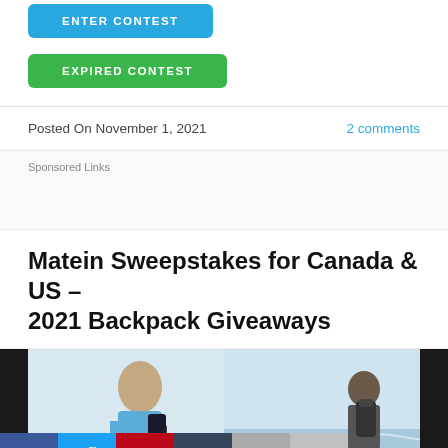[Figure (other): Blue 'ENTER CONTEST' button (partially visible at top)]
[Figure (other): Green 'EXPIRED CONTEST' button]
Posted On November 1, 2021
2 comments
Sponsored Links
Matein Sweepstakes for Canada & US – 2021 Backpack Giveaways
[Figure (photo): Two photos side by side: left shows a man with a backpack looking at his phone, right shows a man from behind at a beach with a backpack. Social share buttons (Facebook, Twitter, Pinterest, Tumblr, plus, minus) overlay the bottom-left of the image.]